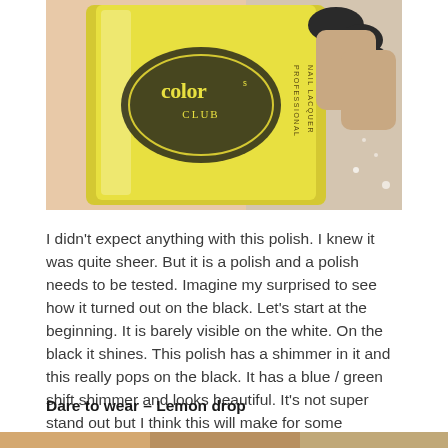[Figure (photo): Close-up photo of a yellow Color Club Professional Nail Lacquer bottle being held by a hand with dark-painted nails]
I didn't expect anything with this polish.  I knew it was quite sheer.  But it is a polish and a polish needs to be tested.  Imagine my surprised to see how it turned out on the black.  Let's start at the beginning.  It is barely visible on the white.  On the black it shines.  This polish has a shimmer in it and this really pops on the black.  It has a blue / green shift shimmer and looks beautiful.  It's not super stand out but I think this will make for some beautiful double stamping or subtle stamping.
Dare to wear – Lemon drop
[Figure (photo): Partial view of another photo at the bottom of the page]